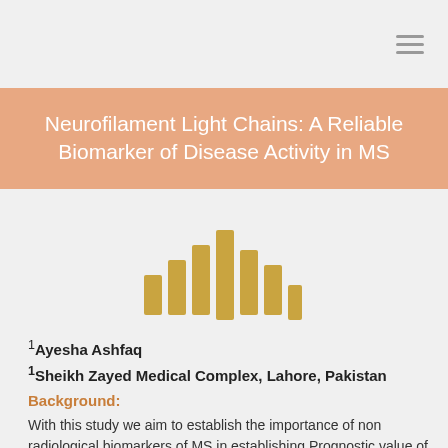≡
Neurofilament Light Chains: A Reliable Biomarker of Disease Activity in MS
[Figure (illustration): Stylized bar/signal waveform icon in golden-yellow color, resembling a bar chart or audio waveform with varying bar heights]
1Ayesha Ashfaq
1Sheikh Zayed Medical Complex, Lahore, Pakistan
Background:
With this study we aim to establish the importance of non radiological biomarkers of MS in establishing Prognostic value of disease activity in CIS. Monitoring disease activity in Relapsing remitting Multiple Sclerosis. Establish the value of quantification of neurofilament light chains in progressive multiple sclerosis in relation to active disease and chronic stable disease